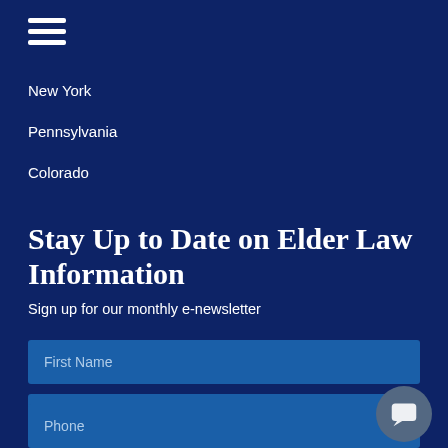[Figure (other): Hamburger menu icon (three horizontal white lines)]
New York
Pennsylvania
Colorado
Stay Up to Date on Elder Law Information
Sign up for our monthly e-newsletter
First Name
Last Name
Email
Phone